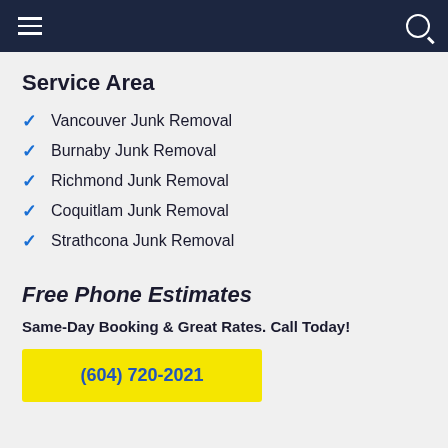Navigation bar with hamburger menu and search icon
Service Area
Vancouver Junk Removal
Burnaby Junk Removal
Richmond Junk Removal
Coquitlam Junk Removal
Strathcona Junk Removal
Free Phone Estimates
Same-Day Booking & Great Rates. Call Today!
(604) 720-2021